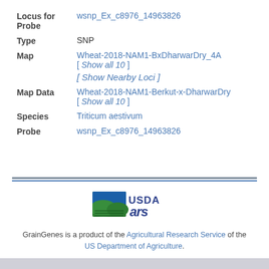| Field | Value |
| --- | --- |
| Locus for Probe | wsnp_Ex_c8976_14963826 |
| Type | SNP |
| Map | Wheat-2018-NAM1-BxDharwarDry_4A [ Show all 10 ] [ Show Nearby Loci ] |
| Map Data | Wheat-2018-NAM1-Berkut-x-DharwarDry [ Show all 10 ] |
| Species | Triticum aestivum |
| Probe | wsnp_Ex_c8976_14963826 |
[Figure (logo): USDA Agricultural Research Service logo with green landscape icon and ARS text]
GrainGenes is a product of the Agricultural Research Service of the US Department of Agriculture.